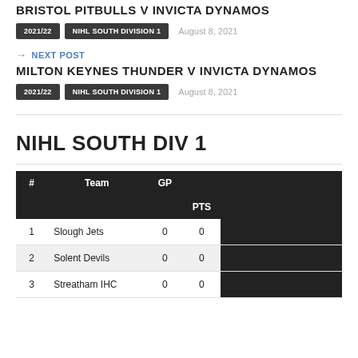BRISTOL PITBULLS V INVICTA DYNAMOS
2021/22   NIHL SOUTH DIVISION 1   August 8, 2021
→ NEXT POST
MILTON KEYNES THUNDER V INVICTA DYNAMOS
2021/22   NIHL SOUTH DIVISION 1   August 8, 2021
NIHL SOUTH DIV 1
| # | Team | GP | PTS |
| --- | --- | --- | --- |
| 1 | Slough Jets | 0 | 0 |
| 2 | Solent Devils | 0 | 0 |
| 3 | Streatham IHC | 0 | 0 |